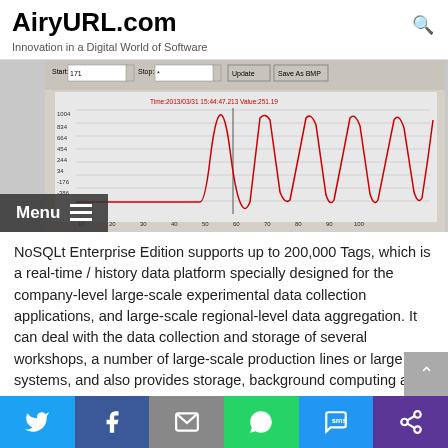AiryURL.com — Innovation in a Digital World of Software
[Figure (screenshot): Software screenshot of a NoSQLt data visualization tool showing a sine wave chart with y-axis values from approximately -386 to 1004, x-axis from 10 to 100, with a red sine wave plotted. Controls at top include Start/Stop fields, Update and Save As BMP buttons. A vertical cursor line is visible around x=60.]
NoSQLt Enterprise Edition supports up to 200,000 Tags, which is a real-time / history data platform specially designed for the company-level large-scale experimental data collection applications, and large-scale regional-level data aggregation. It can deal with the data collection and storage of several workshops, a number of large-scale production lines or large test systems, and also provides storage, background computing and high-speed data